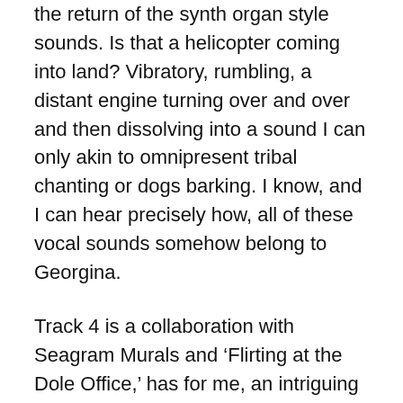the return of the synth organ style sounds. Is that a helicopter coming into land? Vibratory, rumbling, a distant engine turning over and over and then dissolving into a sound I can only akin to omnipresent tribal chanting or dogs barking. I know, and I can hear precisely how, all of these vocal sounds somehow belong to Georgina.
Track 4 is a collaboration with Seagram Murals and 'Flirting at the Dole Office,' has for me, an intriguing title. I haven't heard of the Job Centre being called a “dole office” for years and the idea of flirting in one, well, those were the days. I find this track incredibly upbeat and very enchanting with its looped vocal rhythms and drum machines. It has such a presence of liveliness, positivity and lightness within a spectrum of rainbowed frequencies that I find that my original dole office image, as pictured in my memory, has now been entirely transcended by the